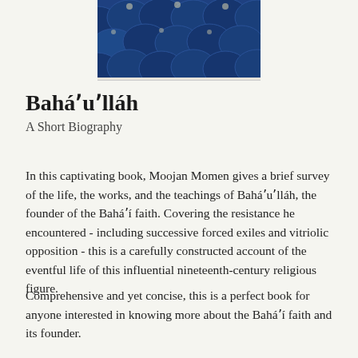[Figure (photo): Partial view of a book cover with a dark blue artistic pattern featuring circular shapes and decorative motifs]
Bahá'u'lláh
A Short Biography
In this captivating book, Moojan Momen gives a brief survey of the life, the works, and the teachings of Bahá'u'lláh, the founder of the Bahá'í faith. Covering the resistance he encountered - including successive forced exiles and vitriolic opposition - this is a carefully constructed account of the eventful life of this influential nineteenth-century religious figure.
Comprehensive and yet concise, this is a perfect book for anyone interested in knowing more about the Bahá'í faith and its founder.